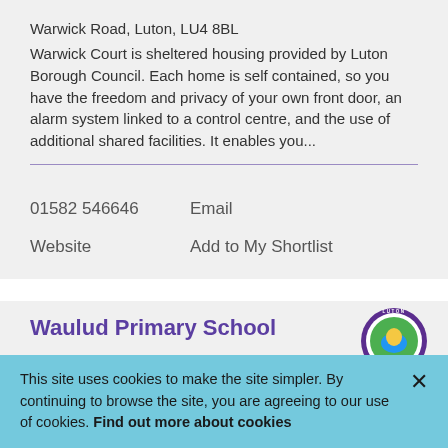Warwick Road, Luton, LU4 8BL
Warwick Court is sheltered housing provided by Luton Borough Council. Each home is self contained, so you have the freedom and privacy of your own front door, an alarm system linked to a control centre, and the use of additional shared facilities. It enables you...
01582 546646    Email
Website    Add to My Shortlist
Waulud Primary School
This site uses cookies to make the site simpler. By continuing to browse the site, you are agreeing to our use of cookies. Find out more about cookies